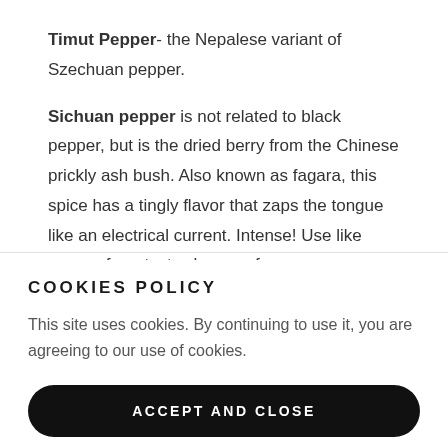Timut Pepper- the Nepalese variant of Szechuan pepper. Sichuan pepper is not related to black pepper, but is the dried berry from the Chinese prickly ash bush. Also known as fagara, this spice has a tingly flavor that zaps the tongue like an electrical current. Intense! Use like pepper for a tasty change of pace.
COOKIES POLICY
This site uses cookies. By continuing to use it, you are agreeing to our use of cookies.
ACCEPT AND CLOSE